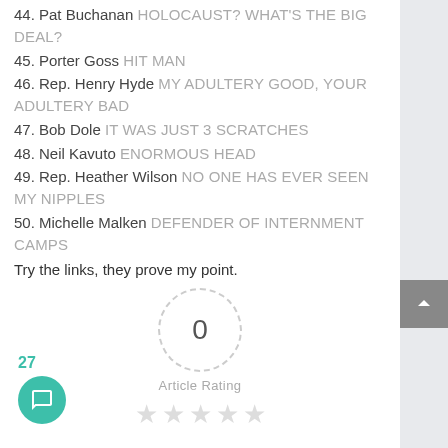44. Pat Buchanan HOLOCAUST? WHAT'S THE BIG DEAL?
45. Porter Goss HIT MAN
46. Rep. Henry Hyde MY ADULTERY GOOD, YOUR ADULTERY BAD
47. Bob Dole IT WAS JUST 3 SCRATCHES
48. Neil Kavuto ENORMOUS HEAD
49. Rep. Heather Wilson NO ONE HAS EVER SEEN MY NIPPLES
50. Michelle Malken DEFENDER OF INTERNMENT CAMPS
Try the links, they prove my point.
[Figure (other): Article rating widget showing 0 rating with dashed circle, label 'Article Rating', and five empty star icons below]